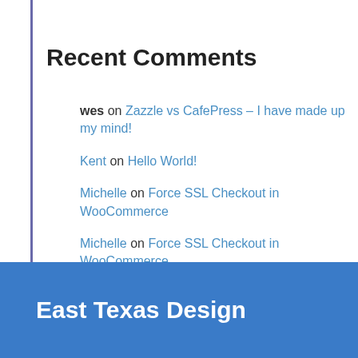Recent Comments
wes on Zazzle vs CafePress – I have made up my mind!
Kent on Hello World!
Michelle on Force SSL Checkout in WooCommerce
Michelle on Force SSL Checkout in WooCommerce
Havhon on Force SSL Checkout in WooCommerce
East Texas Design